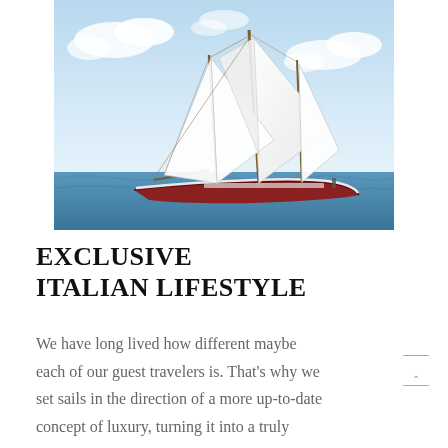[Figure (photo): A classic tall sailing yacht with large white sails billowing in the wind, sailing on blue water under a partly cloudy sky.]
EXCLUSIVE ITALIAN LIFESTYLE
We have long lived how different maybe each of our guest travelers is. That's why we set sails in the direction of a more up-to-date concept of luxury, turning it into a truly